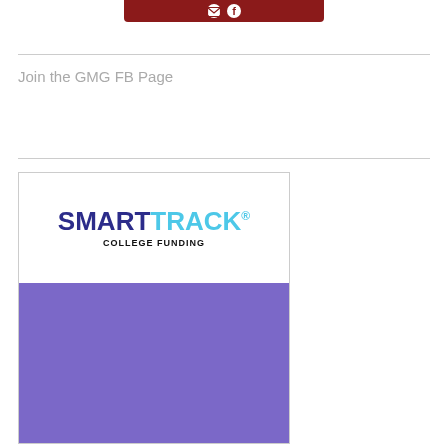[Figure (logo): Red banner/button with social media icons at top of page]
Join the GMG FB Page
[Figure (logo): SmartTrack College Funding advertisement banner with white top section showing logo and purple bottom section]